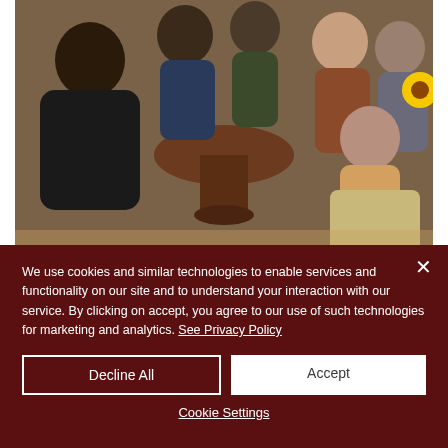[Figure (photo): Group of people sitting around a round wooden table in a warm indoor setting with brick walls. Several women are visible, smiling, one wearing a black top on the left, others in various casual attire. A sunflower is visible in the background right.]
Instructors from the Rappahannock Regional Jail Ready Set Release Program met with Chaplain Jill Amlaner
We use cookies and similar technologies to enable services and functionality on our site and to understand your interaction with our service. By clicking on accept, you agree to our use of such technologies for marketing and analytics. See Privacy Policy